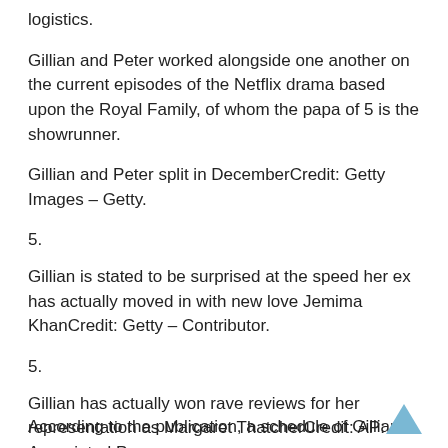logistics.
Gillian and Peter worked alongside one another on the current episodes of the Netflix drama based upon the Royal Family, of whom the papa of 5 is the showrunner.
Gillian and Peter split in DecemberCredit: Getty Images – Getty.
5.
Gillian is stated to be surprised at the speed her ex has actually moved in with new love Jemima KhanCredit: Getty – Contributor.
5.
Gillian has actually won rave reviews for her representation as Margaret ThatcherCredit: AP: Associated Press.
According to the publication, a schedule of Gillian a…